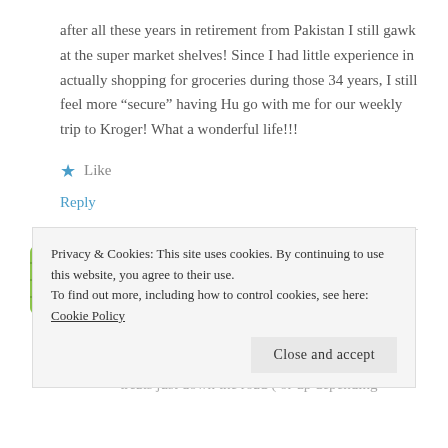after all these years in retirement from Pakistan I still gawk at the super market shelves! Since I had little experience in actually shopping for groceries during those 34 years, I still feel more “secure” having Hu go with me for our weekly trip to Kroger! What a wonderful life!!!
★ Like
Reply
Mom
Privacy & Cookies: This site uses cookies. By continuing to use this website, you agree to their use. To find out more, including how to control cookies, see here: Cookie Policy
Close and accept
treats just down the road ( or up depending where we were living in